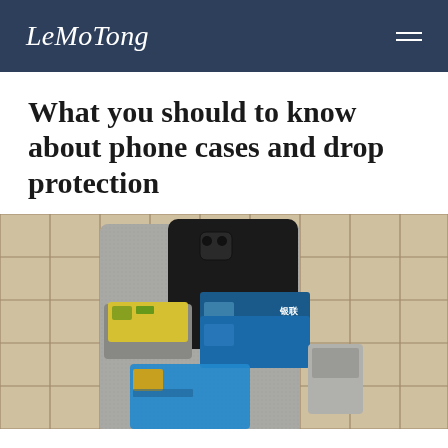LeMoTong
What you should to know about phone cases and drop protection
[Figure (photo): A leather wallet phone case with credit cards inserted, lying on a beige tile surface. The case is dark grey/silver with card slots visible holding yellow and blue cards.]